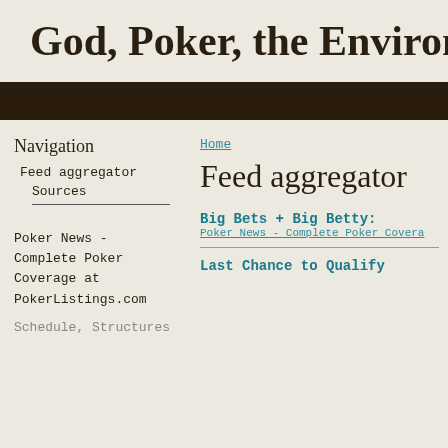God, Poker, the Environment
Navigation
Feed aggregator
Sources
Home
Feed aggregator
Poker News - Complete Poker Coverage at PokerListings.com
Schedule, Structures
Big Bets + Big Betty:
Poker News - Complete Poker Coverage
Last Chance to Qualify